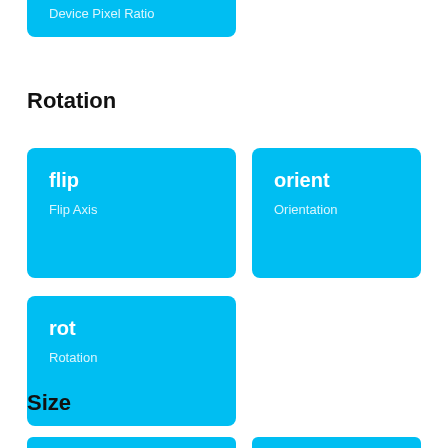[Figure (other): Cyan card at top partially visible, labeled 'Device Pixel Ratio']
Rotation
[Figure (other): Cyan card: flip / Flip Axis]
[Figure (other): Cyan card: orient / Orientation]
[Figure (other): Cyan card: rot / Rotation]
Size
[Figure (other): Cyan cards at bottom, partially visible]